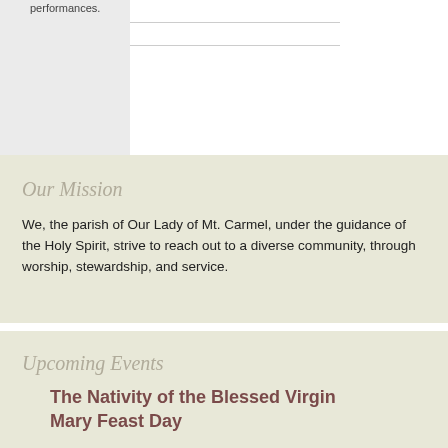performances.
Our Mission
We, the parish of Our Lady of Mt. Carmel, under the guidance of the Holy Spirit, strive to reach out to a diverse community, through worship, stewardship, and service.
Upcoming Events
The Nativity of the Blessed Virgin Mary Feast Day